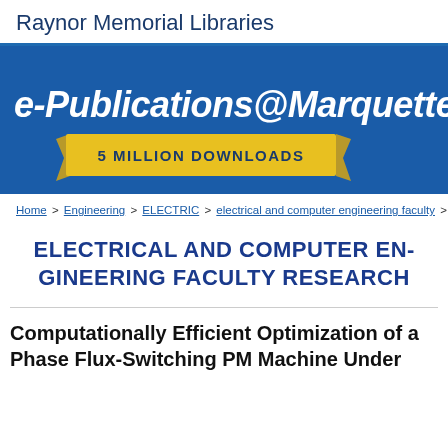Raynor Memorial Libraries
[Figure (screenshot): e-Publications@Marquette banner with blue background and '5 MILLION DOWNLOADS' gold ribbon badge]
Home > Engineering > ELECTRIC > electrical and computer engineering faculty > 51
ELECTRICAL AND COMPUTER ENGINEERING FACULTY RESEARCH
Computationally Efficient Optimization of a Phase Flux-Switching PM Machine Under